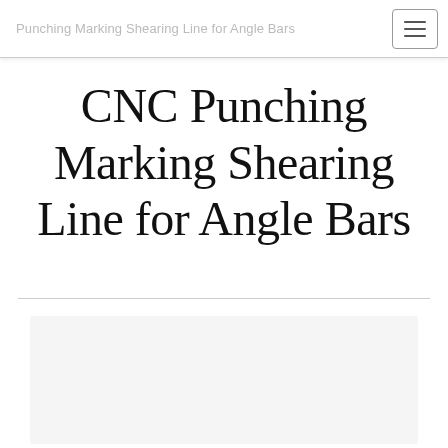Punching Marking Shearing Line for Angle Bars
CNC Punching Marking Shearing Line for Angle Bars
[Figure (photo): Light gray placeholder image area for product photo]